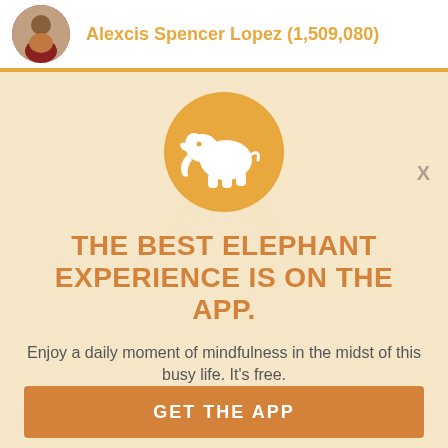Alexcis Spencer Lopez (1,509,080)
X
[Figure (logo): Orange circle with white elephant silhouette logo]
THE BEST ELEPHANT EXPERIENCE IS ON THE APP.
Enjoy a daily moment of mindfulness in the midst of this busy life. It's free.
GET THE APP
OPEN IN APP